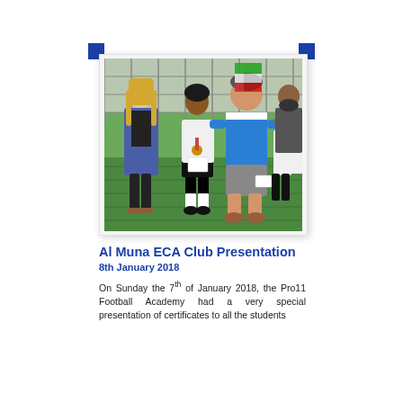[Figure (photo): A woman in a blue cardigan and a man in a blue Joma football shirt crouch/stand beside a young child wearing a medal and holding a certificate, on an artificial grass pitch. More children in white uniforms are visible in the background.]
Al Muna ECA Club Presentation
8th January 2018
On Sunday the 7th of January 2018, the Pro11 Football Academy had a very special presentation of certificates to all the students